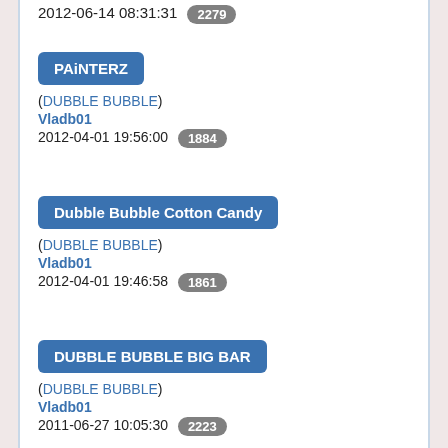2012-06-14 08:31:31 2279
PAiNTERZ
(DUBBLE BUBBLE)
Vladb01
2012-04-01 19:56:00 1884
Dubble Bubble Cotton Candy
(DUBBLE BUBBLE)
Vladb01
2012-04-01 19:46:58 1861
DUBBLE BUBBLE BIG BAR
(DUBBLE BUBBLE)
Vladb01
2011-06-27 10:05:30 2223